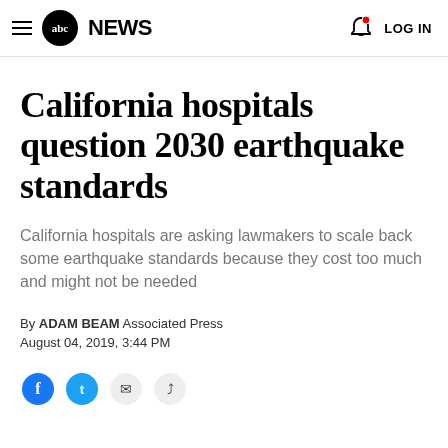abc NEWS  LOG IN
California hospitals question 2030 earthquake standards
California hospitals are asking lawmakers to scale back some earthquake standards because they cost too much and might not be needed
By ADAM BEAM Associated Press
August 04, 2019, 3:44 PM
[Figure (other): Social share icons: Facebook, Twitter, email/link, and another share option]